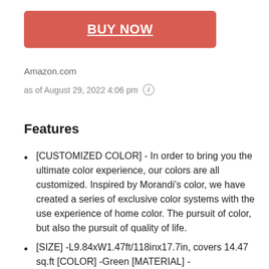[Figure (other): BUY NOW button — red/coral rounded rectangle with white bold underlined text]
Amazon.com
as of August 29, 2022 4:06 pm ⓘ
Features
[CUSTOMIZED COLOR] - In order to bring you the ultimate color experience, our colors are all customized. Inspired by Morandi's color, we have created a series of exclusive color systems with the use experience of home color. The pursuit of color, but also the pursuit of quality of life.
[SIZE] -L9.84xW1.47ft/118inx17.7in, covers 14.47 sq.ft [COLOR] -Green [MATERIAL] -